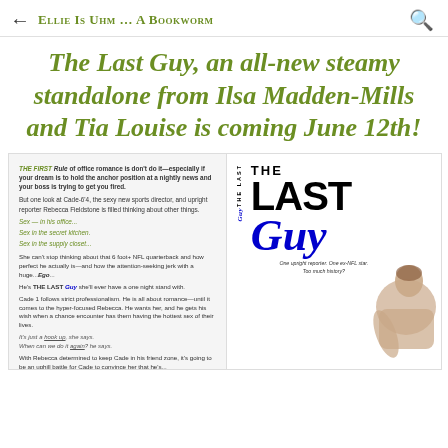← Ellie Is Uhm … A Bookworm
The Last Guy, an all-new steamy standalone from Ilsa Madden-Mills and Tia Louise is coming June 12th!
[Figure (illustration): Book cover for 'The Last Guy' showing title text and a male figure, with blurb text on the left side]